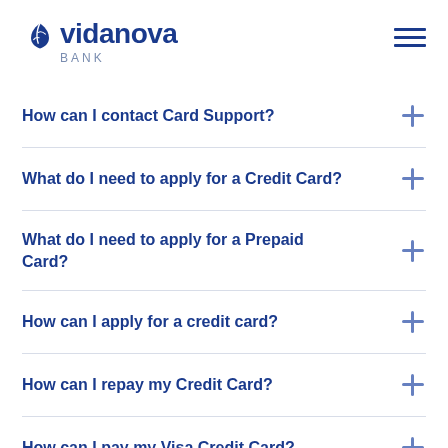vidanova BANK
How can I contact Card Support?
What do I need to apply for a Credit Card?
What do I need to apply for a Prepaid Card?
How can I apply for a credit card?
How can I repay my Credit Card?
How can I pay my Visa Credit Card?